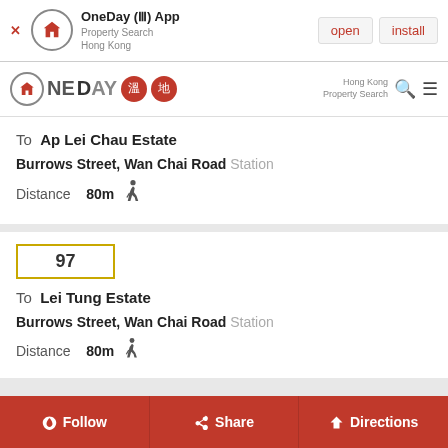[Figure (screenshot): App install banner for OneDay (III) App - Property Search Hong Kong, with open and install buttons]
[Figure (logo): OneDay Property Search Hong Kong navigation bar with logo, Chinese characters badges, search icon and menu icon]
To  Ap Lei Chau Estate
Burrows Street, Wan Chai Road  Station
Distance  80m  (walking icon)
97
To  Lei Tung Estate
Burrows Street, Wan Chai Road  Station
Distance  80m  (walking icon)
Follow  Share  Directions